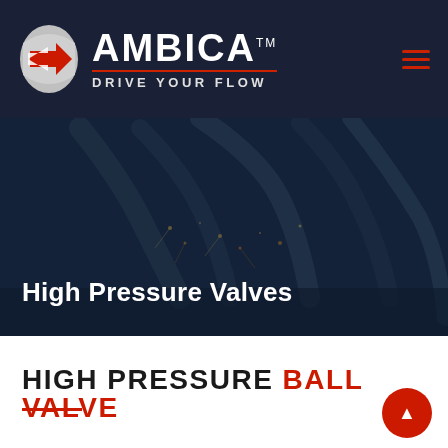[Figure (logo): Ambica brand logo with icon, company name and tagline 'Drive Your Flow' on dark navy header bar]
[Figure (photo): Industrial robotic welding arms with sparks flying in a dark factory environment, used as hero image for High Pressure Valves page]
High Pressure Valves
HIGH PRESSURE BALL VALVE